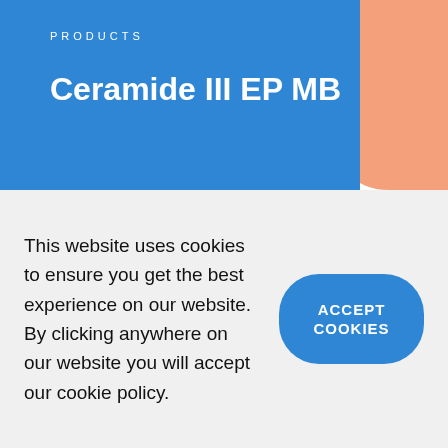PRODUCTS
Ceramide III EP MB
Home > Products > Ceramide III EP MB
Ceramide III EP
This website uses cookies to ensure you get the best experience on our website. By clicking anywhere on our website you will accept our cookie policy.